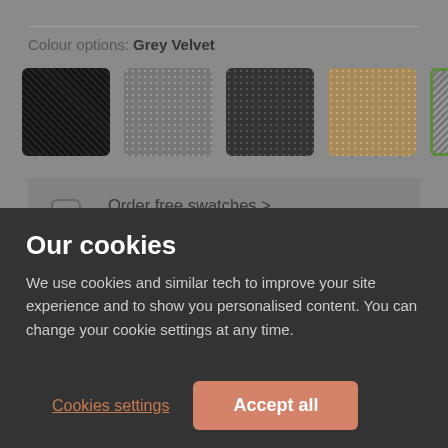Colour options: Grey Velvet
[Figure (photo): Five fabric colour swatches displayed in a row: black textured, light grey mesh, dark grey mesh, beige/tan mesh, grey velvet (selected, with green checkmark badge)]
Order free swatches > Free first-class delivery
£379.99
0% finance from £14.24/mo
Our cookies
We use cookies and similar tech to improve your site experience and to show you personalised content. You can change your cookie settings at any time.
Cookies settings
Accept all